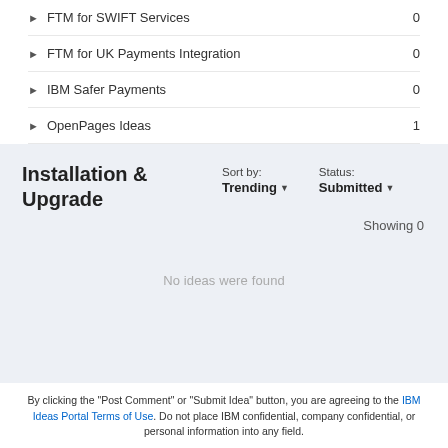FTM for SWIFT Services 0
FTM for UK Payments Integration 0
IBM Safer Payments 0
OpenPages Ideas 1
Installation & Upgrade
Sort by: Trending
Status: Submitted
Showing 0
No ideas were found
By clicking the "Post Comment" or "Submit Idea" button, you are agreeing to the IBM Ideas Portal Terms of Use. Do not place IBM confidential, company confidential, or personal information into any field.